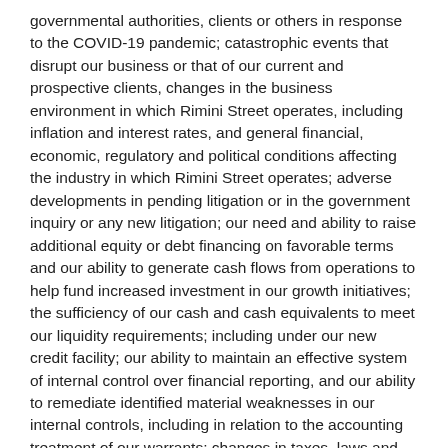governmental authorities, clients or others in response to the COVID-19 pandemic; catastrophic events that disrupt our business or that of our current and prospective clients, changes in the business environment in which Rimini Street operates, including inflation and interest rates, and general financial, economic, regulatory and political conditions affecting the industry in which Rimini Street operates; adverse developments in pending litigation or in the government inquiry or any new litigation; our need and ability to raise additional equity or debt financing on favorable terms and our ability to generate cash flows from operations to help fund increased investment in our growth initiatives; the sufficiency of our cash and cash equivalents to meet our liquidity requirements; including under our new credit facility; our ability to maintain an effective system of internal control over financial reporting, and our ability to remediate identified material weaknesses in our internal controls, including in relation to the accounting treatment of our warrants; changes in taxes, laws and regulations; competitive product and pricing activity; difficulties of managing growth profitably; the customer adoption of